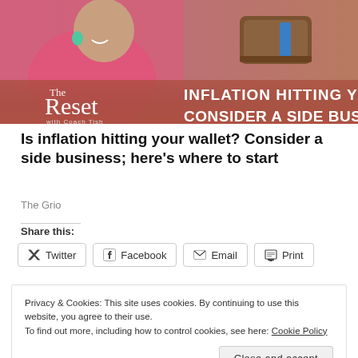[Figure (photo): Podcast banner image for 'The Reset with Coach Tish' showing a smiling woman in a pink jacket with earrings and a hand holding a wallet. Text overlay reads: 'INFLATION HITTING YOUR WAL[LET] CONSIDER A SIDE BUSINESS']
Is inflation hitting your wallet? Consider a side business; here's where to start
The Grio
Share this:
Twitter  Facebook  Email  Print
Privacy & Cookies: This site uses cookies. By continuing to use this website, you agree to their use.
To find out more, including how to control cookies, see here: Cookie Policy
Close and accept